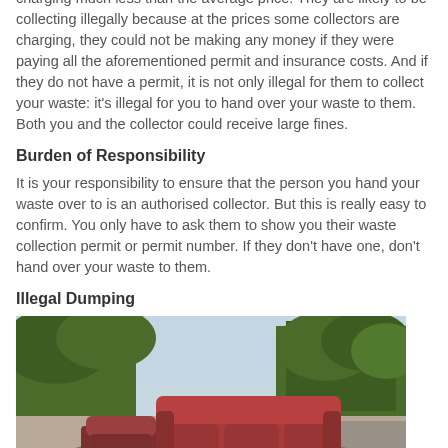charging much less than the average price. They are likely to be collecting illegally because at the prices some collectors are charging, they could not be making any money if they were paying all the aforementioned permit and insurance costs. And if they do not have a permit, it is not only illegal for them to collect your waste: it's illegal for you to hand over your waste to them. Both you and the collector could receive large fines.
Burden of Responsibility
It is your responsibility to ensure that the person you hand your waste over to is an authorised collector. But this is really easy to confirm. You only have to ask them to show you their waste collection permit or permit number. If they don't have one, don't hand over your waste to them.
Illegal Dumping
[Figure (photo): Photograph of illegally dumped furniture and rubbish including a red sofa, an armchair, and piles of waste bags and debris on a roadside with green hedges and trees in the background.]